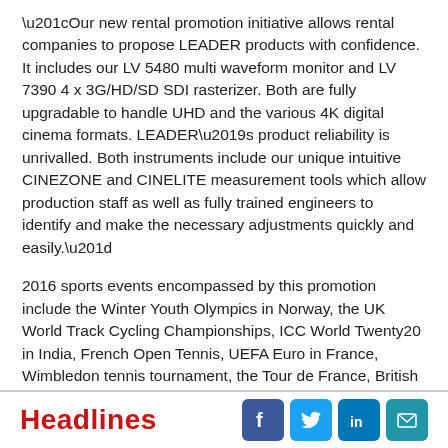“Our new rental promotion initiative allows rental companies to propose LEADER products with confidence. It includes our LV 5480 multi waveform monitor and LV 7390 4 x 3G/HD/SD SDI rasterizer. Both are fully upgradable to handle UHD and the various 4K digital cinema formats. LEADER’s product reliability is unrivalled. Both instruments include our unique intuitive CINEZONE and CINELITE measurement tools which allow production staff as well as fully trained engineers to identify and make the necessary adjustments quickly and easily.”
2016 sports events encompassed by this promotion include the Winter Youth Olympics in Norway, the UK World Track Cycling Championships, ICC World Twenty20 in India, French Open Tennis, UEFA Euro in France, Wimbledon tennis tournament, the Tour de France, British Open Golf, the Summer Olympics in Brazil plus the UCI Road & The World Cycling Championships in Qatar.
Headlines